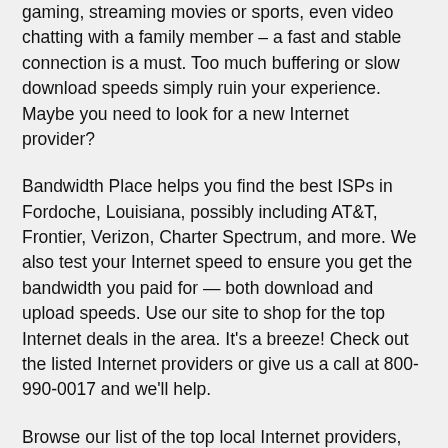gaming, streaming movies or sports, even video chatting with a family member – a fast and stable connection is a must. Too much buffering or slow download speeds simply ruin your experience. Maybe you need to look for a new Internet provider?
Bandwidth Place helps you find the best ISPs in Fordoche, Louisiana, possibly including AT&T, Frontier, Verizon, Charter Spectrum, and more. We also test your Internet speed to ensure you get the bandwidth you paid for — both download and upload speeds. Use our site to shop for the top Internet deals in the area. It's a breeze! Check out the listed Internet providers or give us a call at 800-990-0017 and we'll help.
Browse our list of the top local Internet providers, their current plans, and do your own comparison shopping. Whether cable Internet or mobile, we help you make an informed choice to get the right deal in Fordoche for you